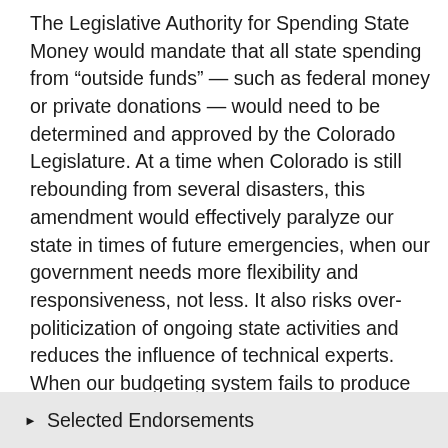The Legislative Authority for Spending State Money would mandate that all state spending from “outside funds” — such as federal money or private donations — would need to be determined and approved by the Colorado Legislature. At a time when Colorado is still rebounding from several disasters, this amendment would effectively paralyze our state in times of future emergencies, when our government needs more flexibility and responsiveness, not less. It also risks over-politicization of ongoing state activities and reduces the influence of technical experts. When our budgeting system fails to produce evidence-based, timely solutions, the most marginalized Coloradans suffer and we miss opportunities to make critical long-term investments in public infrastructure. We must find more nuanced solutions that promote both transparency and effective budgeting.
Selected Endorsements